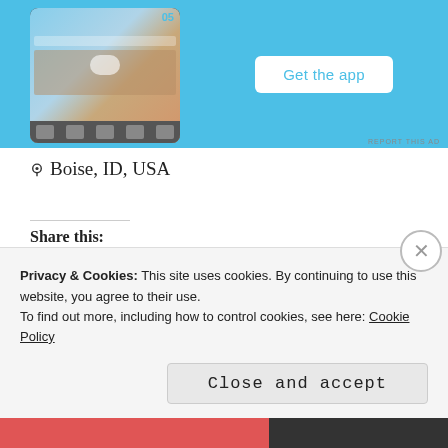[Figure (screenshot): App advertisement banner with phone screenshot and 'Get the app' button on blue background]
REPORT THIS AD
📍 Boise, ID, USA
Share this:
Facebook
Email
Print
More
Loading...
Privacy & Cookies: This site uses cookies. By continuing to use this website, you agree to their use.
To find out more, including how to control cookies, see here: Cookie Policy
Close and accept